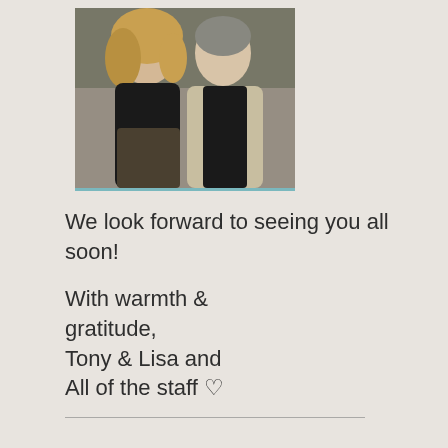[Figure (photo): A photo of a woman and a man posing together, smiling. The woman has curly blonde hair and is wearing dark clothing. The man is wearing a beige blazer over a dark shirt. There is a teal/blue stripe at the bottom of the photo.]
We look forward to seeing you all soon!
With warmth & gratitude,
Tony & Lisa and
All of the staff ♡